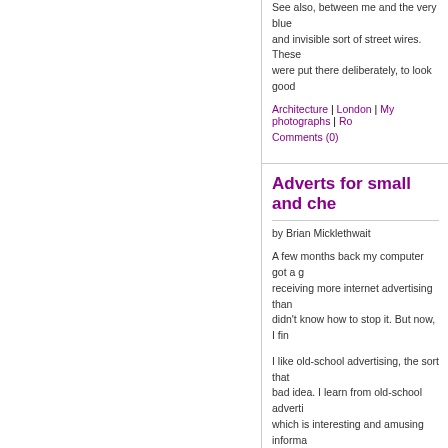See also, between me and the very blue and invisible sort of street wires. These were put there deliberately, to look good
Architecture | London | My photographs | Ro...
Comments (0)
Adverts for small and che...
by Brian Micklethwait
A few months back my computer got a g... receiving more internet advertising than ... didn't know how to stop it. But now, I fin...
I like old-school advertising, the sort that... bad idea. I learn from old-school adverti... which is interesting and amusing informa... about in London. (Soon this pleasure ma... Soon, I may find myself looking at adver... see the rest of this), whenever I walk pas...
But I am now starting to enjoy new-schoo... internetted thought results in adverts app... internet thinks) products. Sometimes, it'... conversation at a party and changing it. ... advertising, sometimes.
So, for instance, all my droning on here a... this miniature contraption appearing o...